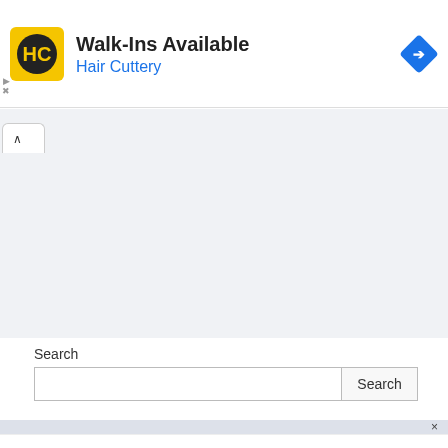[Figure (infographic): Hair Cuttery advertisement banner with yellow HC logo, text 'Walk-Ins Available' and 'Hair Cuttery' in blue, and a blue diamond navigation arrow icon on the right]
[Figure (screenshot): Browser tab area with a collapse chevron tab on a gray background]
[Figure (screenshot): Gray content area (webpage background)]
Search
[Figure (screenshot): Search input field with Search button]
[Figure (screenshot): Close bar with X button]
[Figure (infographic): Hair Cuttery advertisement banner with yellow HC logo, text 'Time For a Trim?' and 'Hair Cuttery' in blue, and a blue diamond navigation arrow icon on the right]